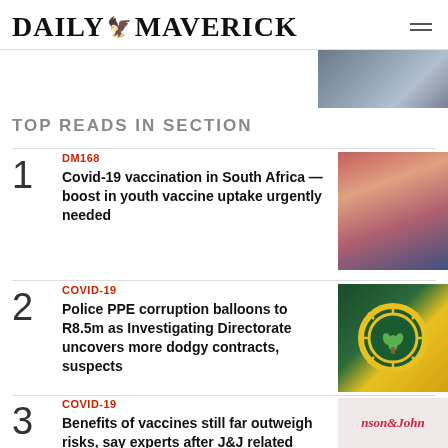DAILY MAVERICK
[Figure (photo): Partial view of a person at a station or venue, top right corner]
TOP READS IN SECTION
1 DM168 — Covid-19 vaccination in South Africa — boost in youth vaccine uptake urgently needed
[Figure (photo): Woman wearing colorful face mask receiving a vaccine injection]
2 COVID-19 — Police PPE corruption balloons to R8.5m as Investigating Directorate uncovers more dodgy contracts, suspects
[Figure (photo): South African Police Service badge/logo on background of cash]
3 COVID-19 — Benefits of vaccines still far outweigh risks, say experts after J&J related...
[Figure (photo): Johnson & Johnson logo partial view]